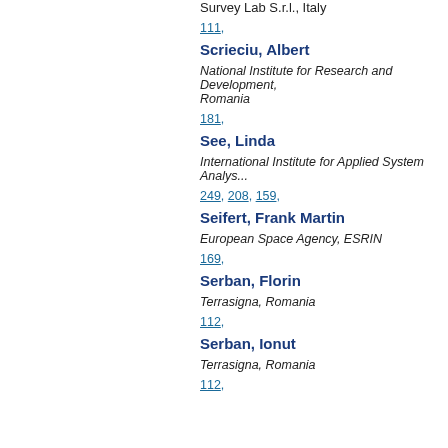Survey Lab S.r.l., Italy
111,
Scrieciu, Albert
National Institute for Research and Development, Romania
181,
See, Linda
International Institute for Applied System Analysis
249, 208, 159,
Seifert, Frank Martin
European Space Agency, ESRIN
169,
Serban, Florin
Terrasigna, Romania
112,
Serban, Ionut
Terrasigna, Romania
112,